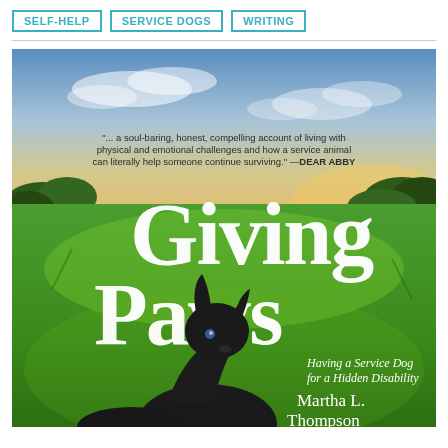SELF-HELP
SERVICE DOGS
WRITING
[Figure (illustration): Book cover of 'Giving Paws: Having a Service Dog for a Hidden Disability' by Martha L. Thompson. Features a green grassy field under a dramatic sky, a black dog looking upward, large white serif title text 'Giving Paws', and a quote from Dear Abby: '...a soul-baring, honest, compelling account of living with physical and emotional challenges and how a service animal can literally help someone continue surviving.']